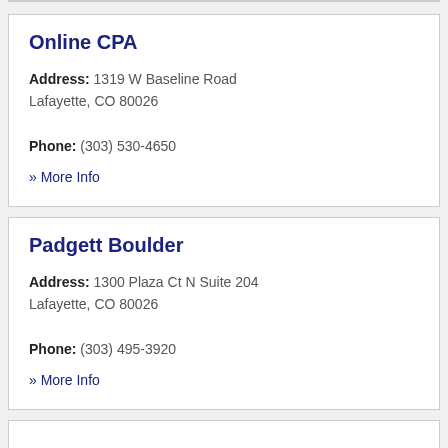Online CPA
Address: 1319 W Baseline Road Lafayette, CO 80026
Phone: (303) 530-4650
» More Info
Padgett Boulder
Address: 1300 Plaza Ct N Suite 204 Lafayette, CO 80026
Phone: (303) 495-3920
» More Info